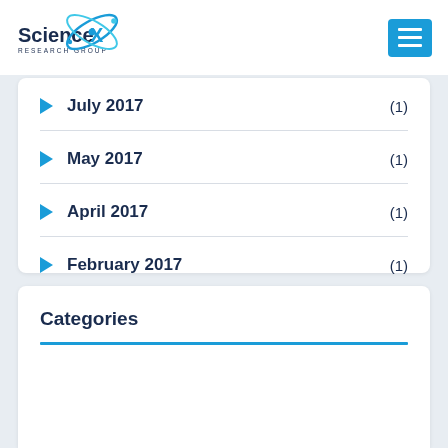[Figure (logo): ScienceX Research Group logo with atom graphic and blue X letter]
July 2017 (1)
May 2017 (1)
April 2017 (1)
February 2017 (1)
Categories